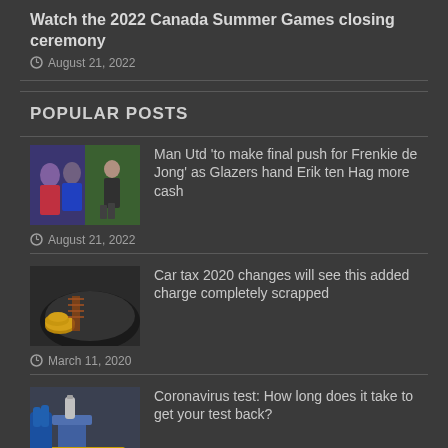Watch the 2022 Canada Summer Games closing ceremony
August 21, 2022
POPULAR POSTS
Man Utd 'to make final push for Frenkie de Jong' as Glazers hand Erik ten Hag more cash
August 21, 2022
Car tax 2020 changes will see this added charge completely scrapped
March 11, 2020
Coronavirus test: How long does it take to get your test back?
March 11, 2020